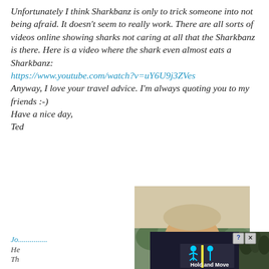Unfortunately I think Sharkbanz is only to trick someone into not being afraid. It doesn't seem to really work. There are all sorts of videos online showing sharks not caring at all that the Sharkbanz is there. Here is a video where the shark even almost eats a Sharkbanz:
https://www.youtube.com/watch?v=uY6U9j3ZVes
Anyway, I love your travel advice. I'm always quoting you to my friends :-)
Have a nice day,
Ted
[Figure (photo): Profile photo of a smiling middle-aged man with light hair, wearing a white shirt, photographed outdoors]
Jo...
He
Th